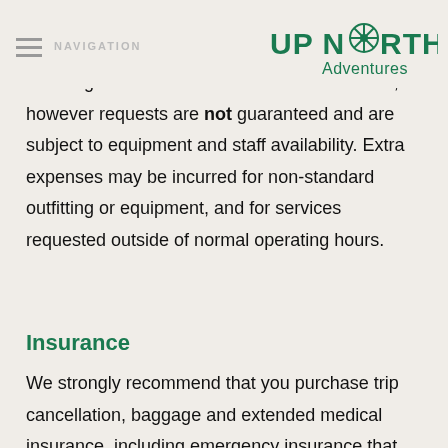NAVIGATION | UP NORTH Adventures
Please let us know at time of booking if you have any special requests for specific boats or types of outfitting. We will do our best to accommodate, however requests are not guaranteed and are subject to equipment and staff availability. Extra expenses may be incurred for non-standard outfitting or equipment, and for services requested outside of normal operating hours.
Insurance
We strongly recommend that you purchase trip cancellation, baggage and extended medical insurance, including emergency insurance that covers all expenses associated with evacuation. If you require evacuation for any reason, the expense incurred will be the